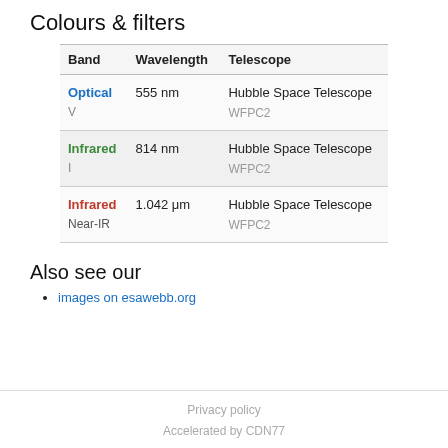Colours & filters
| Band | Wavelength | Telescope |
| --- | --- | --- |
| Optical
V | 555 nm | Hubble Space Telescope
WFPC2 |
| Infrared
I | 814 nm | Hubble Space Telescope
WFPC2 |
| Infrared
Near-IR | 1.042 μm | Hubble Space Telescope
WFPC2 |
Also see our
images on esawebb.org
Privacy policy
Accelerated by CDN77